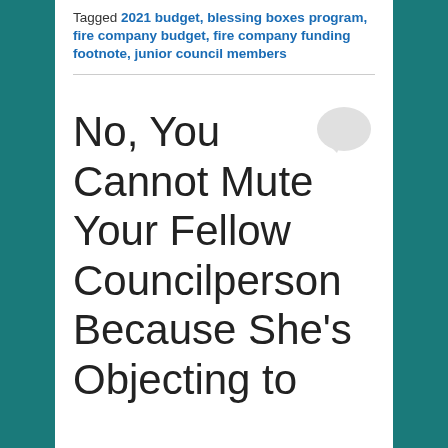Tagged 2021 budget, blessing boxes program, fire company budget, fire company funding footnote, junior council members
No, You Cannot Mute Your Fellow Councilperson Because She's Objecting to